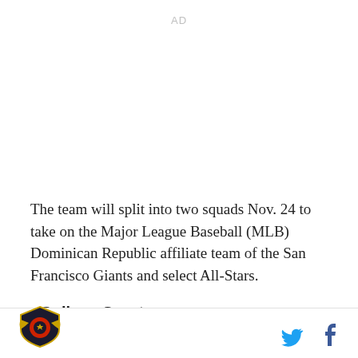[Figure (other): AD placeholder text in light gray]
The team will split into two squads Nov. 24 to take on the Major League Baseball (MLB) Dominican Republic affiliate team of the San Francisco Giants and select All-Stars.
- College Sports -
Footer with logo and social media icons (Twitter, Facebook)